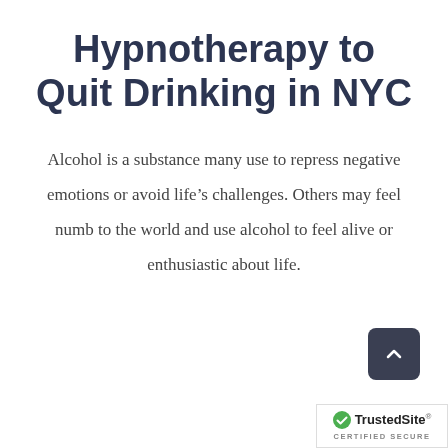Hypnotherapy to Quit Drinking in NYC
Alcohol is a substance many use to repress negative emotions or avoid life’s challenges. Others may feel numb to the world and use alcohol to feel alive or enthusiastic about life.